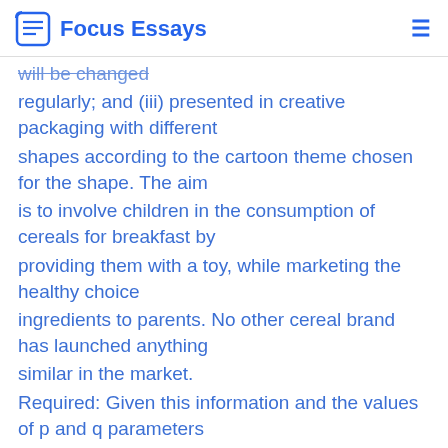Focus Essays
will be changed regularly; and (iii) presented in creative packaging with different shapes according to the cartoon theme chosen for the shape. The aim is to involve children in the consumption of cereals for breakfast by providing them with a toy, while marketing the healthy choice ingredients to parents. No other cereal brand has launched anything similar in the market. Required: Given this information and the values of p and q parameters provided in data-set 3, calculate (with the aid of the Bass Model) the